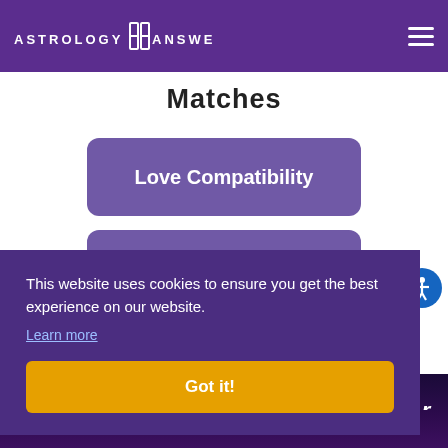ASTROLOGY ANSWERS
Matches
Love Compatibility
Career Compatibility
This website uses cookies to ensure you get the best experience on our website.
Learn more
Got it!
Click Here for Your Free Daily Tarot Love Reading